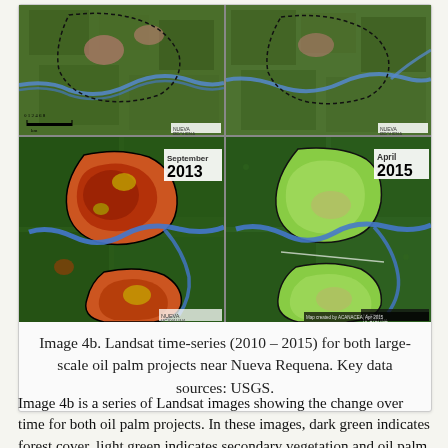[Figure (photo): Four Landsat satellite images arranged in a 2x2 grid showing Nueva Requena oil palm projects. Top row: two false-color images from approximately 2010 showing the landscape. Bottom row: September 2013 (left) and April 2015 (right) showing land use change with orange/red areas indicating deforestation and light green areas indicating oil palm plantation growth.]
Image 4b. Landsat time-series (2010 – 2015) for both large-scale oil palm projects near Nueva Requena. Key data sources: USGS.
Image 4b is a series of Landsat images showing the change over time for both oil palm projects. In these images, dark green indicates forest cover, light green indicates secondary vegetation and oil palm plantations, pink indicates exposed and bare soil,